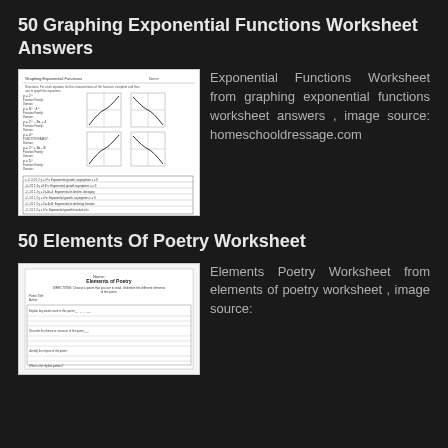50 Graphing Exponential Functions Worksheet Answers
[Figure (screenshot): Thumbnail of a graphing exponential functions worksheet with multiple graphs of exponential curves on coordinate axes and a table of values.]
Exponential Functions Worksheet from graphing exponential functions worksheet answers , image source: homeschooldressage.com
50 Elements Of Poetry Worksheet
[Figure (screenshot): Thumbnail of an Elements of Poetry worksheet with fill-in questions and lines for answers.]
Elements Poetry Worksheet from elements of poetry worksheet , image source: